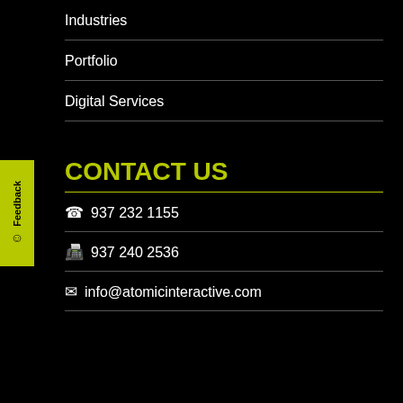Industries
Portfolio
Digital Services
CONTACT US
📞 937 232 1155
📠 937 240 2536
✉ info@atomicinteractive.com